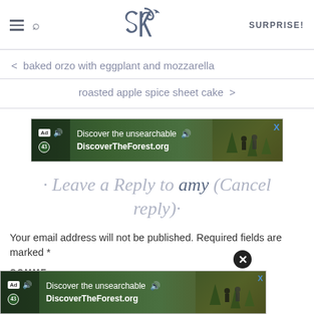SK logo header with hamburger menu, search, and SURPRISE! link
< baked orzo with eggplant and mozzarella
roasted apple spice sheet cake >
[Figure (screenshot): Advertisement banner: Discover the unsearchable / DiscoverTheForest.org with forest/hiking imagery]
· Leave a Reply to amy (Cancel reply)·
Your email address will not be published. Required fields are marked *
COMMENT
[Figure (screenshot): Second advertisement banner (bottom overlay): Discover the unsearchable / DiscoverTheForest.org with forest/hiking imagery, with X close button]